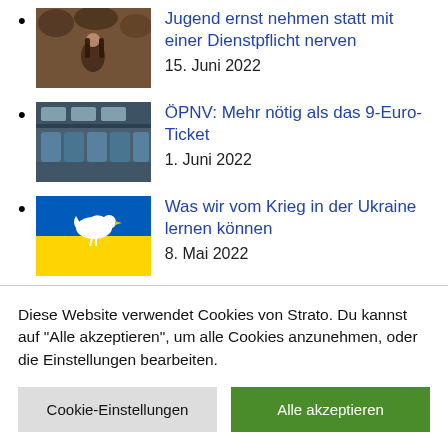Jugend ernst nehmen statt mit einer Dienstpflicht nerven
15. Juni 2022
ÖPNV: Mehr nötig als das 9-Euro-Ticket
1. Juni 2022
Was wir vom Krieg in der Ukraine lernen können
8. Mai 2022
Diese Website verwendet Cookies von Strato. Du kannst auf "Alle akzeptieren", um alle Cookies anzunehmen, oder die Einstellungen bearbeiten.
Cookie-Einstellungen | Alle akzeptieren